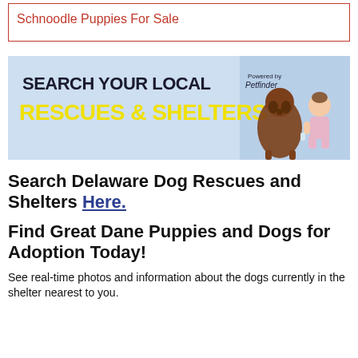Schnoodle Puppies For Sale
[Figure (illustration): Banner advertisement: Search Your Local Rescues & Shelters, Powered by Petfinder. Shows a brown dog and a baby sitting together against a blue background.]
Search Delaware Dog Rescues and Shelters Here.
Find Great Dane Puppies and Dogs for Adoption Today!
See real-time photos and information about the dogs currently in the shelter nearest to you.